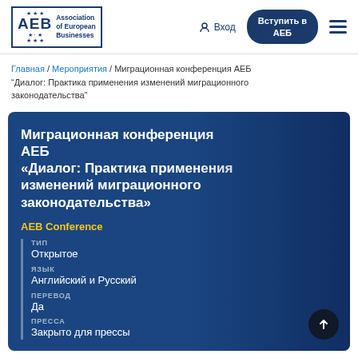[Figure (logo): AEB - Association of European Businesses logo with stars and blue border]
Вход
Вступить в АЕБ
Главная / Мероприятия / Миграционная конференция АЕБ "Диалог: Практика применения изменений миграционного законодательства"
Миграционная конференция АЕБ "Диалог: Практика применения изменений миграционного законодательства"
AEB Conference
ТИП
Открытое
ЯЗЫК
Английский и Русский
ПЕРЕВОД
Да
ПРЕССА
Закрыто для прессы